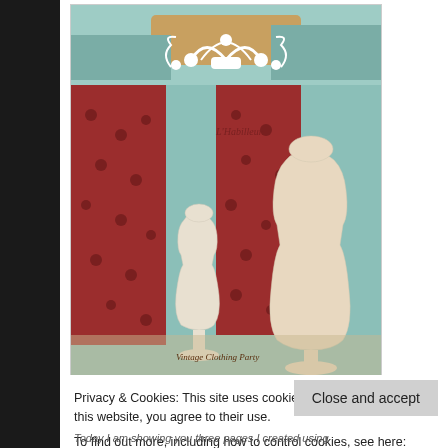[Figure (illustration): Craft/scrapbook art page showing two white dress form mannequin silhouettes against a background of red and dark polka-dot fabric pieces, with teal/turquoise mixed media background. A decorative white flourish ornament at the top. Text 'L'Habilleur' visible in the middle and 'Vintage Clothing Party' at the bottom.]
Privacy & Cookies: This site uses cookies. By continuing to use this website, you agree to their use.
To find out more, including how to control cookies, see here: Cookie Policy
Close and accept
Today I am showing you three pages I created using